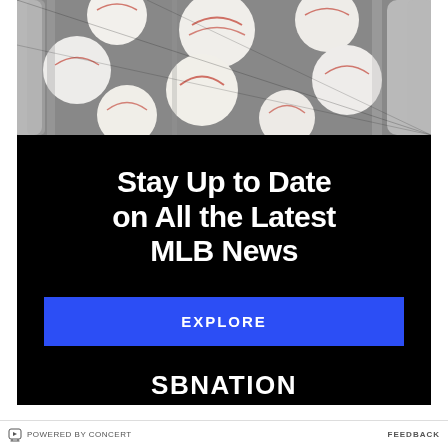[Figure (photo): Baseballs piled in a metal bucket/cage with baseball bats, close-up photograph]
Stay Up to Date on All the Latest MLB News
EXPLORE
[Figure (logo): SBNation logo in white bold uppercase text]
POWERED BY CONCERT   FEEDBACK